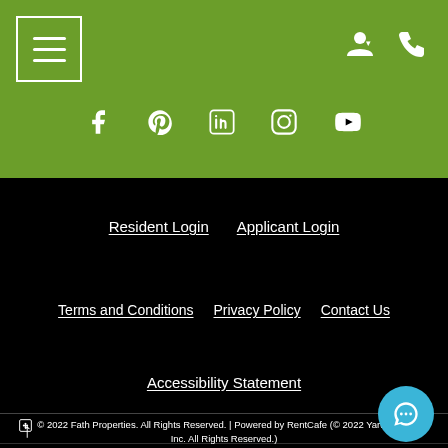[Figure (screenshot): Green header bar with hamburger menu icon on left, user/account and phone icons on right, social media icons (Facebook, Pinterest, LinkedIn, Instagram, YouTube) centered below]
Resident Login   Applicant Login
Terms and Conditions   Privacy Policy   Contact Us
Accessibility Statement
© 2022 Fath Properties. All Rights Reserved. | Powered by RentCafe (© 2022 Yardi Systems, Inc. All Rights Reserved.)